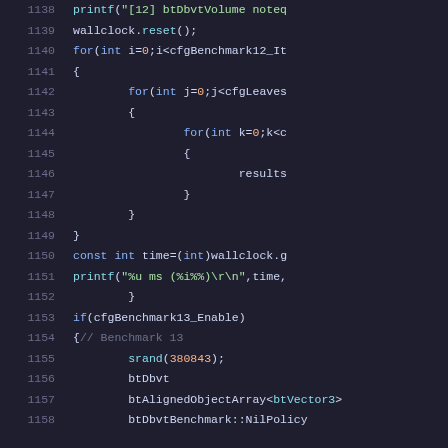[Figure (screenshot): Source code listing showing C++ benchmark code, lines 1138-1158, dark theme editor with syntax highlighting. Line numbers in gray on left, code in blue/green/white on dark background.]